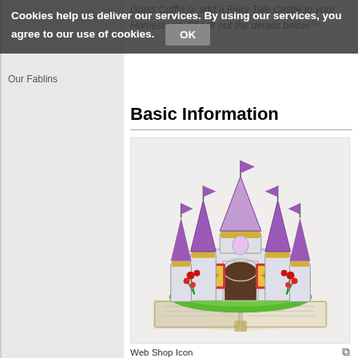Cookies help us deliver our services. By using our services, you agree to our use of cookies. OK
Glass Coffin or add a Fairy Tale Castle to your Homestead. Check out the details below.[1]
Basic Information
[Figure (illustration): A cartoon-style fairy tale castle with purple spires and flags, sitting on a green island base on top of an open book. Red roses decorate the entrance. Web Shop Icon for a game item.]
Web Shop Icon